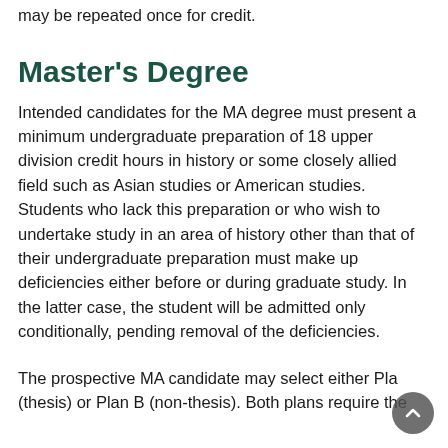may be repeated once for credit.
Master's Degree
Intended candidates for the MA degree must present a minimum undergraduate preparation of 18 upper division credit hours in history or some closely allied field such as Asian studies or American studies. Students who lack this preparation or who wish to undertake study in an area of history other than that of their undergraduate preparation must make up deficiencies either before or during graduate study. In the latter case, the student will be admitted only conditionally, pending removal of the deficiencies.
The prospective MA candidate may select either Plan A (thesis) or Plan B (non-thesis). Both plans require the